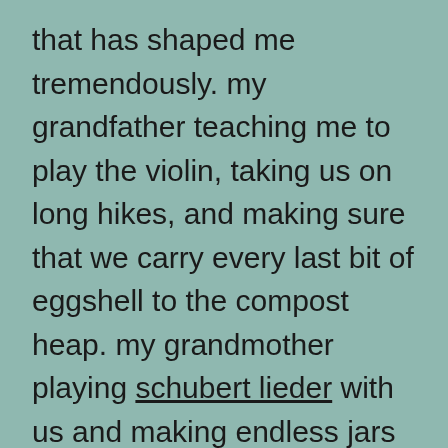that has shaped me tremendously. my grandfather teaching me to play the violin, taking us on long hikes, and making sure that we carry every last bit of eggshell to the compost heap. my grandmother playing schubert lieder with us and making endless jars of rosehip jam from the fruit that my grandfather would cart in with his trusted old bicycle. sitting on my opa's lap, a man with beautiful white hair; a faint and magical memory. my oma stirring my voracious love of reading by indiscriminately heaping comic books, poetry and strange religious books on me; and showering her fierce maternal love on